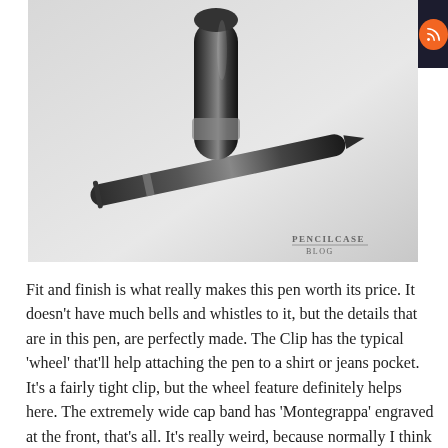Follow
[Figure (photo): A dark metallic fountain pen with its cap removed and placed upright, photographed on a light gray background. Watermark reads 'PENCILCASE BLOG' in the lower right corner.]
Fit and finish is what really makes this pen worth its price. It doesn't have much bells and whistles to it, but the details that are in this pen, are perfectly made. The Clip has the typical 'wheel' that'll help attaching the pen to a shirt or jeans pocket. It's a fairly tight clip, but the wheel feature definitely helps here. The extremely wide cap band has 'Montegrappa' engraved at the front, that's all. It's really weird, because normally I think cap bands can be somewhat detracting from the clean looks of the pen, but with this one it actually felt like something was missing at the back. Maybe 'made in Italy' engraved around the back of the cap would have been nice. Another nice detail is the cap fineal: it says '1912', the